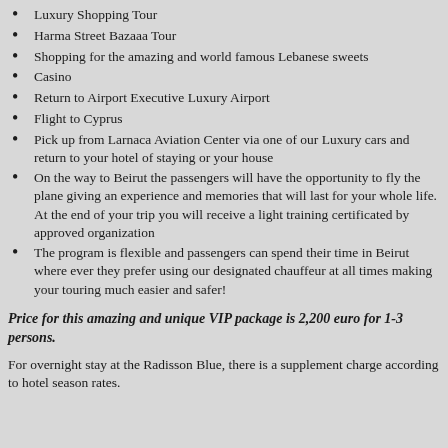Luxury Shopping Tour
Harma Street Bazaaa Tour
Shopping for the amazing and world famous Lebanese sweets
Casino
Return to Airport Executive Luxury Airport
Flight to Cyprus
Pick up from Larnaca Aviation Center via one of our Luxury cars and return to your hotel of staying or your house
On the way to Beirut the passengers will have the opportunity to fly the plane giving an experience and memories that will last for your whole life. At the end of your trip you will receive a light training certificated by approved organization
The program is flexible and passengers can spend their time in Beirut where ever they prefer using our designated chauffeur at all times making your touring much easier and safer!
Price for this amazing and unique VIP package is 2,200 euro for 1-3 persons.
For overnight stay at the Radisson Blue, there is a supplement charge according to hotel season rates.